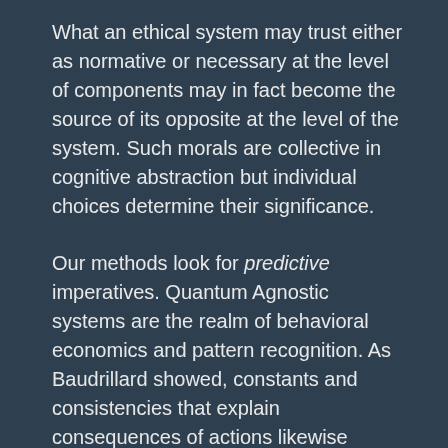What an ethical system may trust either as normative or necessary at the level of components may in fact become the source of its opposite at the level of the system. Such morals are collective in cognitive abstraction but individual choices determine their significance.
Our methods look for predictive imperatives. Quantum Agnostic systems are the realm of behavioral economics and pattern recognition. As Baudrillard showed, constants and consistencies that explain consequences of actions likewise reveal an oscillation of reaction and counter-reaction. The simulation suffers an odd Mobius strip, in which the consequences of work serve the opposition more than our own party. The morality of rebellious components may inflict damage to other components, but they may do so to the benefit of the system they reject. Each action, for or against the system or its